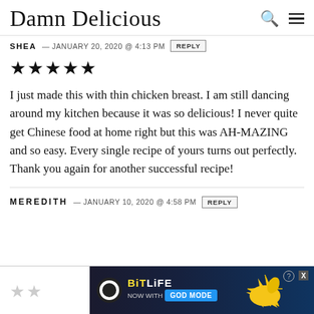Damn Delicious
SHEA — JANUARY 20, 2020 @ 4:13 PM  REPLY
[Figure (illustration): Five filled black star rating icons]
I just made this with thin chicken breast. I am still dancing around my kitchen because it was so delicious! I never quite get Chinese food at home right but this was AH-MAZING and so easy. Every single recipe of yours turns out perfectly. Thank you again for another successful recipe!
MEREDITH — JANUARY 10, 2020 @ 4:58 PM  REPLY
[Figure (illustration): Two outlined star rating icons (low rating) followed by BitLife advertisement banner]